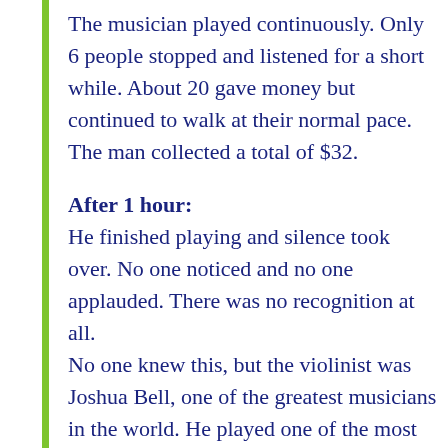The musician played continuously. Only 6 people stopped and listened for a short while. About 20 gave money but continued to walk at their normal pace. The man collected a total of $32.
After 1 hour: He finished playing and silence took over. No one noticed and no one applauded. There was no recognition at all. No one knew this, but the violinist was Joshua Bell, one of the greatest musicians in the world. He played one of the most intricate pieces ever